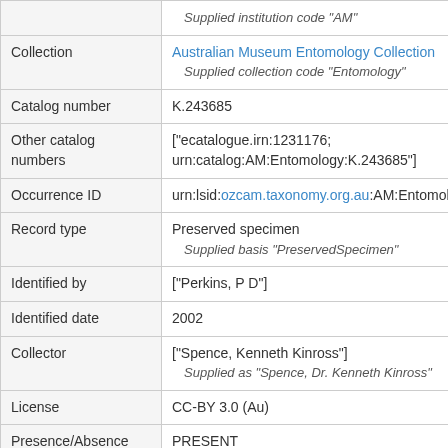| Field | Value |
| --- | --- |
|  | Supplied institution code "AM" |
| Collection | Australian Museum Entomology Collection
    Supplied collection code "Entomology" |
| Catalog number | K.243685 |
| Other catalog numbers | ["ecatalogue.irn:1231176; urn:catalog:AM:Entomology:K.243685"] |
| Occurrence ID | urn:lsid:ozcam.taxonomy.org.au:AM:Entomology |
| Record type | Preserved specimen
    Supplied basis "PreservedSpecimen" |
| Identified by | ["Perkins, P D"] |
| Identified date | 2002 |
| Collector | ["Spence, Kenneth Kinross"]
    Supplied as "Spence, Dr. Kenneth Kinross" |
| License | CC-BY 3.0 (Au) |
| Presence/Absence | PRESENT |
| Date identified | 2002 |